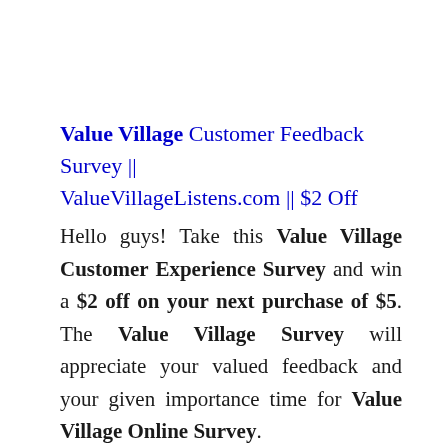Value Village Customer Feedback Survey || ValueVillageListens.com || $2 Off
Hello guys! Take this Value Village Customer Experience Survey and win a $2 off on your next purchase of $5. The Value Village Survey will appreciate your valued feedback and your given importance time for Value Village Online Survey.